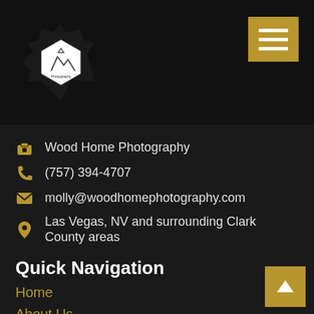[Figure (logo): Wood Home Photography logo — camera shutter shape in black with a white hexagon in the center containing mountain/house icon and text]
[Figure (other): Golden hamburger menu button with three white horizontal bars]
Wood Home Photography
(757) 394-4707
molly@woodhomephotography.com
Las Vegas, NV and surrounding Clark County areas
Quick Navigation
Home
About Us
Book Now
Articles